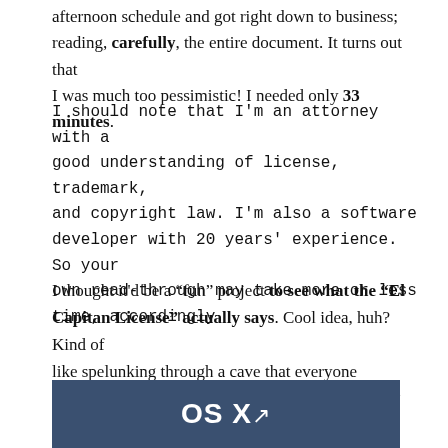afternoon schedule and got right down to business; reading, carefully, the entire document. It turns out that I was much too pessimistic! I needed only 33 minutes.
I should note that I'm an attorney with a good understanding of license, trademark, and copyright law. I'm also a software developer with 20 years' experience. So your own read-through may take more or less time, accordingly.
I thought it'd be a "fun" project to see what the "El Capitan License" actually says. Cool idea, huh? Kind of like spelunking through a cave that everyone says they've been through, but maybe no one really has. What will I find wedged in a wall or lurking in the dark around the next turn?
[Figure (logo): OS X El Capitan logo banner on dark blue-grey background]